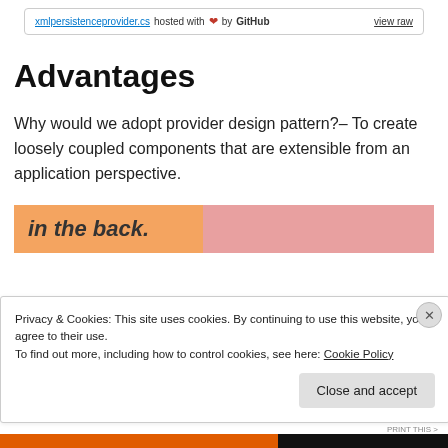[Figure (screenshot): GitHub file bar showing 'xmlpersistenceprovider.cs hosted with heart by GitHub  view raw']
Advantages
Why would we adopt provider design pattern?– To create loosely coupled components that are extensible from an application perspective.
[Figure (illustration): Partial banner with orange and pink background showing italic bold text 'in the back.']
Privacy & Cookies: This site uses cookies. By continuing to use this website, you agree to their use.
To find out more, including how to control cookies, see here: Cookie Policy
[Figure (other): Close and accept button for cookie banner]